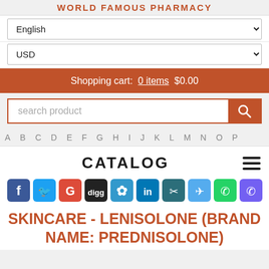WORLD FAMOUS PHARMACY
English (dropdown)
USD (dropdown)
Shopping cart: 0 items $0.00
search product
A B C D E F G H I J K L M N O P
CATALOG
[Figure (other): Social media share buttons: Facebook, Twitter, Google+, Digg, Delicious, LinkedIn, Clipboard, Twitter bird, WhatsApp, Viber]
SKINCARE - LENISOLONE (BRAND NAME: PREDNISOLONE)